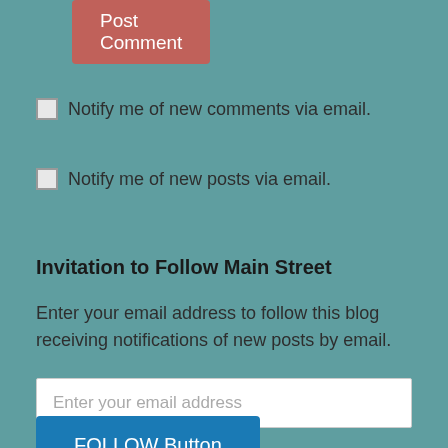Post Comment
Notify me of new comments via email.
Notify me of new posts via email.
Invitation to Follow Main Street
Enter your email address to follow this blog receiving notifications of new posts by email.
Enter your email address
FOLLOW Button
Join 1,422 other followers